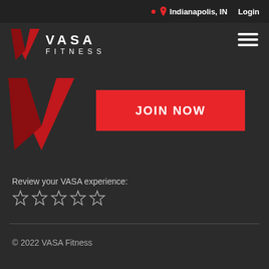Indianapolis, IN   Login
[Figure (logo): VASA Fitness logo with red V chevron and white text VASA FITNESS]
[Figure (other): Hamburger menu icon with three horizontal white lines]
[Figure (logo): Large red VASA Fitness V chevron logo]
JOIN NOW
Review your VASA experience:
[Figure (other): Five empty star rating icons]
© 2022 VASA Fitness